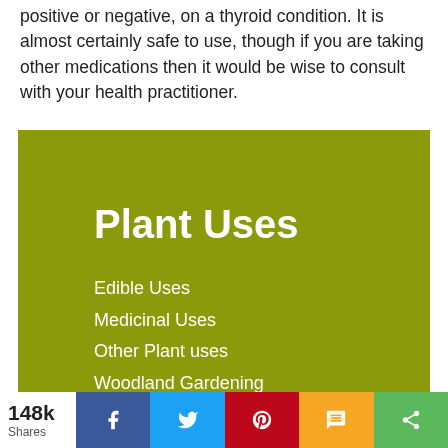positive or negative, on a thyroid condition. It is almost certainly safe to use, though if you are taking other medications then it would be wise to consult with your health practitioner.
[Figure (infographic): Green box titled 'Plant Uses' with a list of links: Edible Uses, Medicinal Uses, Other Plant uses, Woodland Gardening, Why Perennial Plants?, Top Edible Plants, Top Medicinal Plants (partially visible)]
Edible Uses
Medicinal Uses
Other Plant uses
Woodland Gardening
Why Perennial Plants?
Top Edible Plants
Top Medicinal Plants
148k Shares | Facebook | Twitter | Pinterest | SMS | Share